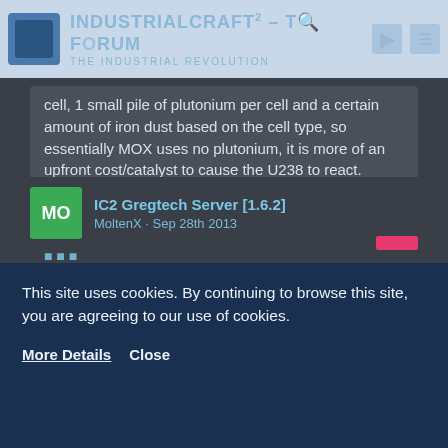IndustrialCraft² - The Forum · The Industrial Revolution
cell, 1 small pile of plutonium per cell and a certain amount of iron dust based on the cell type, so essentially MOX uses no plutonium, it is more of an upfront cost/catalyst to cause the U238 to react.
Easier explained, MOX is a fuel that generates up to 4x (I think!) normal depending on the heat of the nuclear reactor.
IC2 Gregtech Server [1.6.2]
MoltenX · Sep 28th 2013
This site uses cookies. By continuing to browse this site, you are agreeing to our use of cookies.
More Details   Close